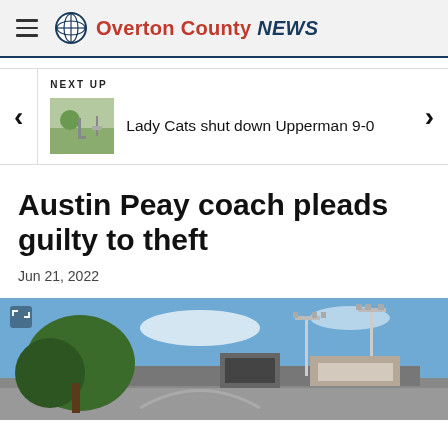Overton County NEWS
NEXT UP
Lady Cats shut down Upperman 9-0
Austin Peay coach pleads guilty to theft
Jun 21, 2022
[Figure (photo): Stadium exterior with trees and stadium lights visible against a blue sky]